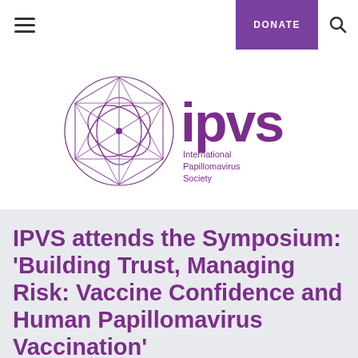DONATE
[Figure (logo): IPVS International Papillomavirus Society logo — purple geometric sphere/circle made of interconnected triangular facets with stylized DNA-like shapes, followed by 'ipvs' in large purple sans-serif text, and 'International Papillomavirus Society' in smaller purple text below]
IPVS attends the Symposium: 'Building Trust, Managing Risk: Vaccine Confidence and Human Papillomavirus Vaccination'